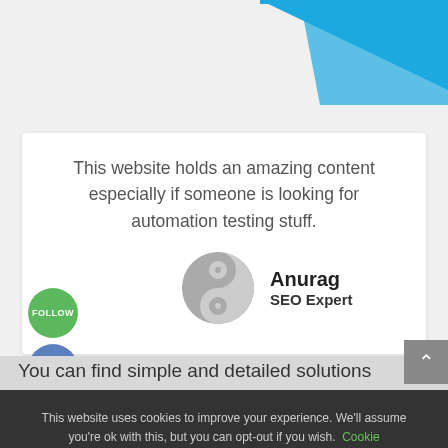[Figure (illustration): Blue diagonal decorative element in top-right corner of page]
This website holds an amazing content especially if someone is looking for automation testing stuff.
[Figure (illustration): Yin-yang style avatar icon in grey tones]
Anurag
SEO Expert
[Figure (illustration): Green circle button with FOLLOW text, blue Facebook circle icon, blue Twitter circle icon]
You can find simple and detailed solutions
This website uses cookies to improve your experience. We'll assume you're ok with this, but you can opt-out if you wish. Cookie